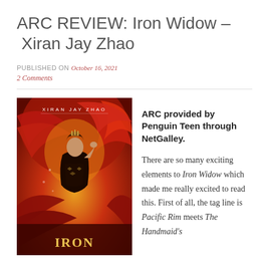ARC REVIEW: Iron Widow – Xiran Jay Zhao
PUBLISHED ON October 16, 2021
2 Comments
[Figure (photo): Book cover of Iron Widow by Xiran Jay Zhao. A woman in elaborate dark clothing with ornate headpiece stands against a dramatic background of red and orange feathers/flames. The text 'XIRAN JAY ZHAO' appears at the top and 'IRON' at the bottom.]
ARC provided by Penguin Teen through NetGalley.

There are so many exciting elements to Iron Widow which made me really excited to read this. First of all, the tag line is Pacific Rim meets The Handmaid's